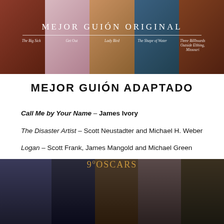[Figure (photo): Collage of film stills for Best Original Screenplay nominees: The Big Sick, Get Out, Lady Bird, The Shape of Water, Three Billboards Outside Ebbing Missouri. White text overlay reads MEJOR GUIÓN ORIGINAL with film titles below a dividing line.]
MEJOR GUIÓN ADAPTADO
Call Me by Your Name – James Ivory
The Disaster Artist – Scott Neustadter and Michael H. Weber
Logan – Scott Frank, James Mangold and Michael Green
Molly's Game – Aaron Sorkin
Mudbound – Virgil Williams y Dee Rees
[Figure (photo): Collage of film stills for Best Adapted Screenplay nominees: Call Me by Your Name, Logan, The Disaster Artist, Molly's Game, Mudbound. Gold 90Oscars logo visible in center.]